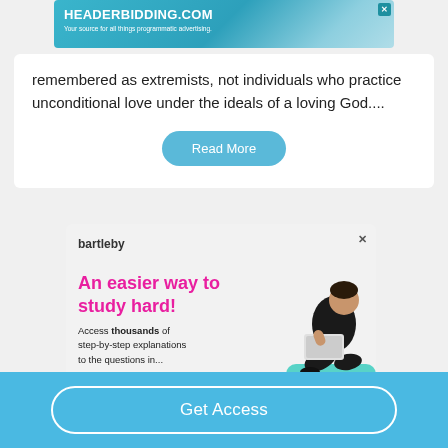[Figure (other): HEADERBIDDING.COM banner advertisement with teal/blue gradient background. Text reads 'HEADERBIDDING.COM' and 'Your source for all things programmatic advertising.']
remembered as extremists, not individuals who practice unconditional love under the ideals of a loving God....
Read More
[Figure (other): Bartleby advertisement with logo, tagline 'An easier way to study hard!' in pink, body text 'Access thousands of step-by-step explanations to the questions in...' and illustration of person with laptop]
Get Access